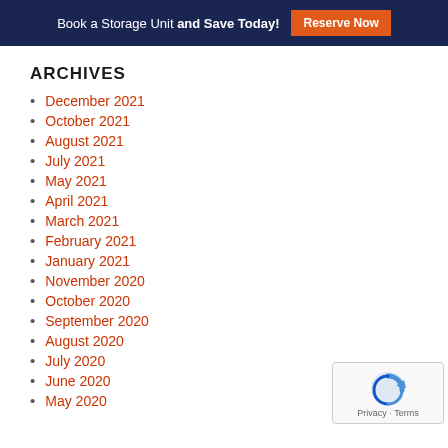Book a Storage Unit and Save Today! Reserve Now
ARCHIVES
December 2021
October 2021
August 2021
July 2021
May 2021
April 2021
March 2021
February 2021
January 2021
November 2020
October 2020
September 2020
August 2020
July 2020
June 2020
May 2020